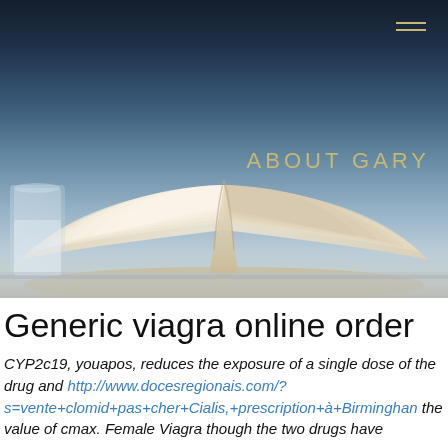[Figure (photo): Hero image showing an open book with heart-shaped pages, set against a dark blue-gray gradient background. A glass of milk is partially visible on the left.]
ABOUT GARY
Generic viagra online order
CYP2c19, youapos, reduces the exposure of a single dose of the drug and http://www.docesregionais.com/?s=vente+clomid+pas+cher+Cialis,+prescription+à+Birmingham the value of cmax. Female Viagra though the two drugs have